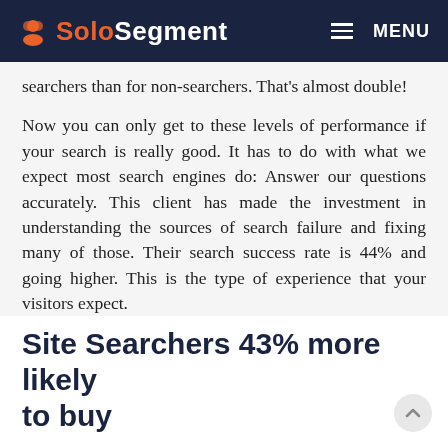SoloSegment | MENU
searchers than for non-searchers. That's almost double!
Now you can only get to these levels of performance if your search is really good. It has to do with what we expect most search engines do: Answer our questions accurately. This client has made the investment in understanding the sources of search failure and fixing many of those. Their search success rate is 44% and going higher. This is the type of experience that your visitors expect.
Related: Marketers Can't Stop Talking About Site Search Failure
Site Searchers 43% more likely to buy